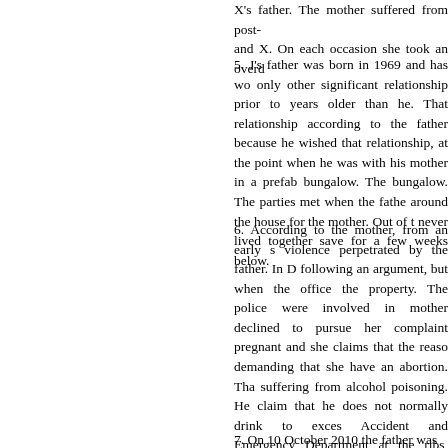X's father. The mother suffered from post- and X. On each occasion she took an overd
5. J's father was born in 1969 and has wo only other significant relationship prior to years older than he. That relationship according to the father because he wished that relationship, at the point when he was with his mother in a prefab bungalow. The bungalow. The parties met when the fathe around the house for the mother. Out of t never lived together save for a few weeks below.
6. According to the mother, from an early s violence perpetrated by the father. In D following an argument, but when the office the property. The police were involved in mother declined to pursue her complaint pregnant and she claims that the reaso demanding that she have an abortion. Tha suffering from alcohol poisoning. He claim that he does not normally drink to exces Accident and Emergency Department at the ribs, saying that she had fallen five days pr denied that the injury had been sustained has been the subject of evidence at this hea
7. On 10 October 2010 the father was